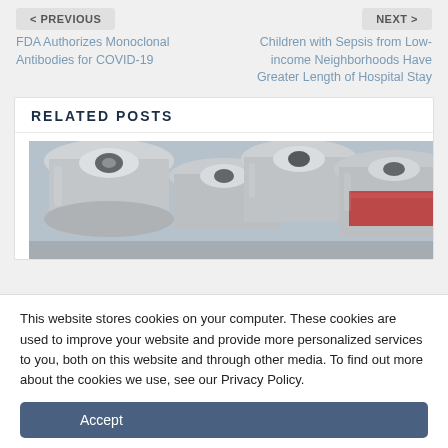< PREVIOUS
NEXT >
FDA Authorizes Monoclonal Antibodies for COVID-19
Children with Sepsis from Low-income Neighborhoods Have Greater Length of Hospital Stay
RELATED POSTS
[Figure (photo): Close-up photo of multiple glass medical vials with silver/metal caps and red labels, likely vaccine or medication vials]
This website stores cookies on your computer. These cookies are used to improve your website and provide more personalized services to you, both on this website and through other media. To find out more about the cookies we use, see our Privacy Policy.
Accept